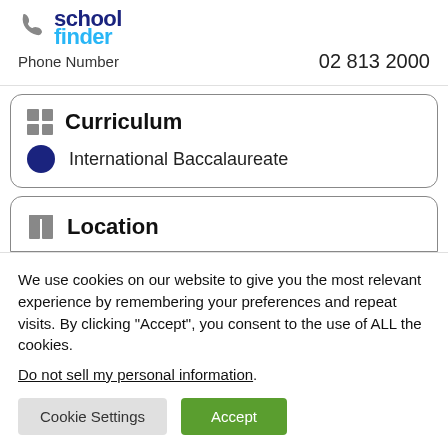School Contact Information
Phone Number   02 813 2000
Curriculum
International Baccalaureate
Location
We use cookies on our website to give you the most relevant experience by remembering your preferences and repeat visits. By clicking “Accept”, you consent to the use of ALL the cookies.
Do not sell my personal information.